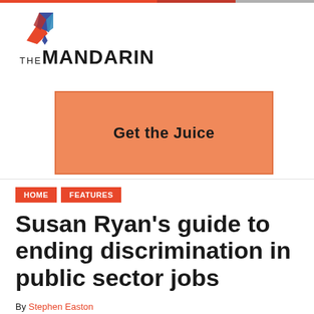[Figure (logo): The Mandarin logo with coloured diamond shapes and bold text]
[Figure (infographic): Orange advertisement box with text 'Get the Juice']
HOME
FEATURES
Susan Ryan's guide to ending discrimination in public sector jobs
By Stephen Easton